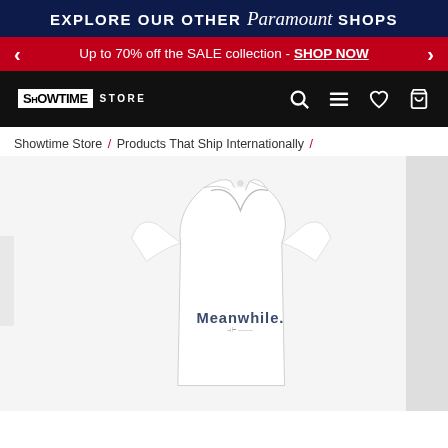EXPLORE OUR OTHER Paramount SHOPS
Up to 70% off the SALE collection - SHOP NOW
[Figure (logo): SHOWTIME STORE logo with navigation icons (search, menu, heart, bag)]
Showtime Store / Products That Ship Internationally /
[Figure (photo): White v-neck t-shirt with 'Meanwhile.' text printed on the front, product photo on white background]